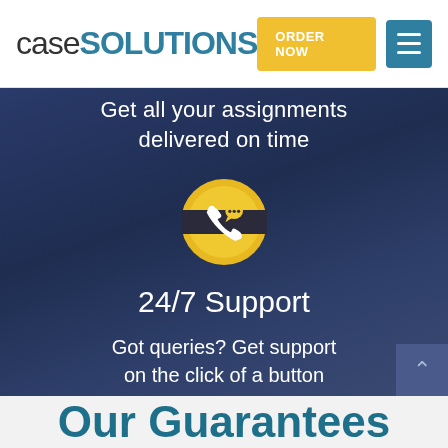caseSolutions
Get all your assignments delivered on time
[Figure (illustration): Yellow circular icon with a phone handset and chat bubble, on a dark band across the circle center]
24/7 Support
Got queries? Get support on the click of a button
Our Guarantees